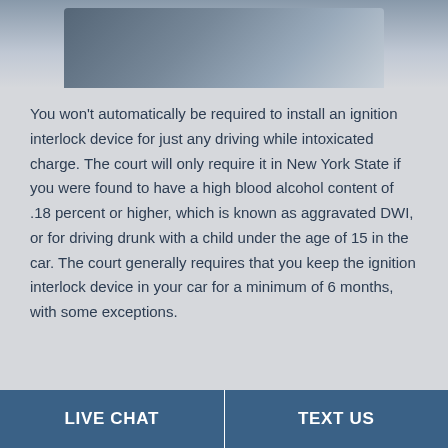[Figure (photo): Top portion of a photo showing a person in a vehicle, likely a police or law enforcement context, partially cropped at the top of the page.]
You won't automatically be required to install an ignition interlock device for just any driving while intoxicated charge. The court will only require it in New York State if you were found to have a high blood alcohol content of .18 percent or higher, which is known as aggravated DWI, or for driving drunk with a child under the age of 15 in the car. The court generally requires that you keep the ignition interlock device in your car for a minimum of 6 months, with some exceptions.
LIVE CHAT   TEXT US